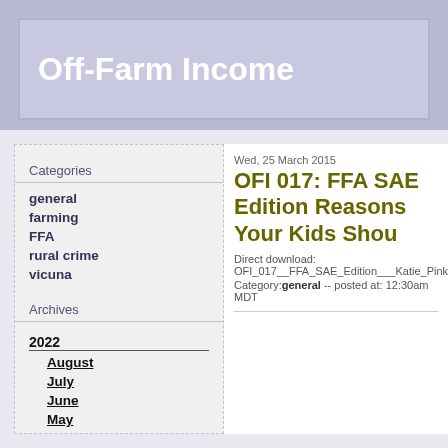Off-Farm Income
Categories
general
farming
FFA
rural crime
vicuna
Archives
2022
August
July
June
May
April
March
February
January
2021
December
Wed, 25 March 2015
OFI 017: FFA SAE Edition Reasons Your Kids Shou
Direct download: OFI_017__FFA_SAE_Edition___Katie_Pinke___Co
Category: general -- posted at: 12:30am MDT